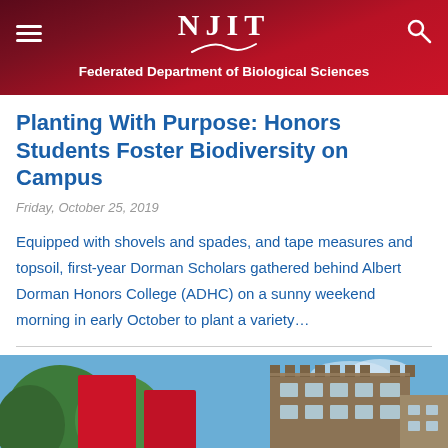NJIT — Federated Department of Biological Sciences
Planting With Purpose: Honors Students Foster Biodiversity on Campus
Friday, October 25, 2019
Equipped with shovels and spades, and tape measures and topsoil, first-year Dorman Scholars gathered behind Albert Dorman Honors College (ADHC) on a sunny weekend morning in early October to plant a variety…
[Figure (photo): Outdoor campus photo showing red banners/flags with a historic stone building and blue sky in the background, with green trees visible.]